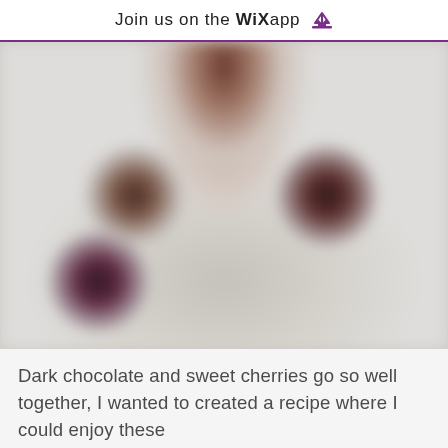Join us on the WiX app ⬇
[Figure (photo): Blurred overhead photo of a plate with dark chocolates and cherries, with what appears to be a glass or dessert item at the top center, on a light background.]
Dark chocolate and sweet cherries go so well together, I wanted to created a recipe where I could enjoy these